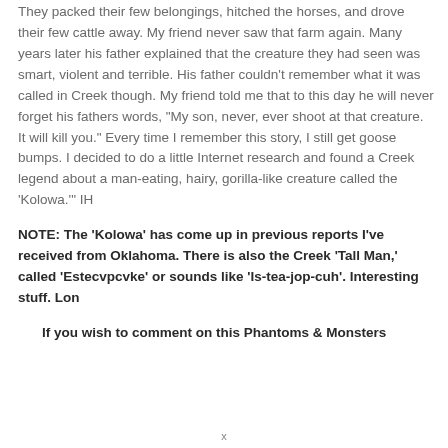They packed their few belongings, hitched the horses, and drove their few cattle away. My friend never saw that farm again. Many years later his father explained that the creature they had seen was smart, violent and terrible. His father couldn't remember what it was called in Creek though. My friend told me that to this day he will never forget his fathers words, "My son, never, ever shoot at that creature. It will kill you." Every time I remember this story, I still get goose bumps. I decided to do a little Internet research and found a Creek legend about a man-eating, hairy, gorilla-like creature called the 'Kolowa.'" IH
NOTE: The 'Kolowa' has come up in previous reports I've received from Oklahoma. There is also the Creek 'Tall Man,' called 'Estecvpcvke' or sounds like 'Is-tea-jop-cuh'. Interesting stuff. Lon
If you wish to comment on this Phantoms & Monsters
x